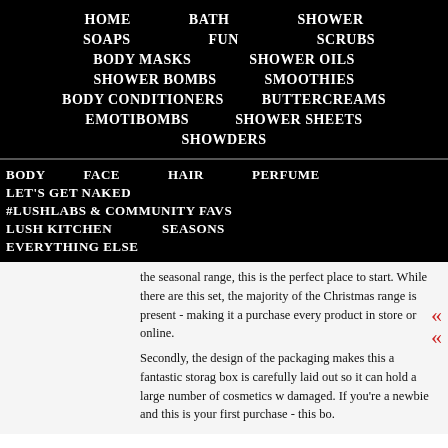HOME   BATH   SHOWER
SOAPS   FUN   SCRUBS
BODY MASKS   SHOWER OILS
SHOWER BOMBS   SMOOTHIES
BODY CONDITIONERS   BUTTERCREAMS
EMOTIBOMBS   SHOWER SHEETS
SHOWDERS
BODY   FACE   HAIR   PERFUME
LET'S GET NAKED
#LUSHLABS & COMMUNITY FAVS
LUSH KITCHEN   SEASONS
EVERYTHING ELSE
the seasonal range, this is the perfect place to start. While there are this set, the majority of the Christmas range is present - making it a purchase every product in store or online.
Secondly, the design of the packaging makes this a fantastic storage box is carefully laid out so it can hold a large number of cosmetics w damaged. If you're a newbie and this is your first purchase - this bo.